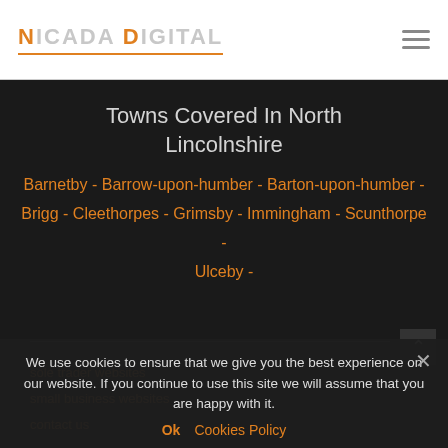NICADA DIGITAL
Towns Covered In North Lincolnshire
Barnetby - Barrow-upon-humber - Barton-upon-humber - Brigg - Cleethorpes - Grimsby - Immingham - Scunthorpe - Ulceby -
sole trader websites
small business websites
contact us
We use cookies to ensure that we give you the best experience on our website. If you continue to use this site we will assume that you are happy with it.
Ok   Cookies Policy